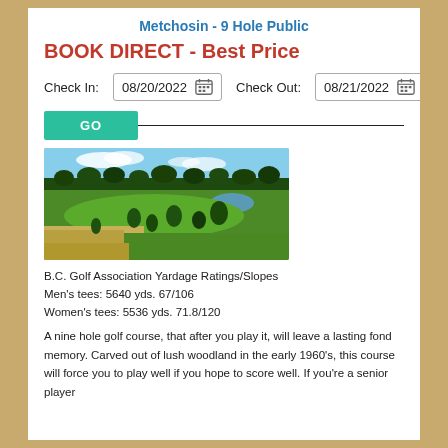Metchosin - 9 Hole Public
BOOK DIRECT - Best Price
Check In: 08/20/2022   Check Out: 08/21/2022
[Figure (photo): Aerial/landscape view of a golf course with green fairways, scattered trees, a small water feature in the background, and a treeline on the horizon under a partly cloudy sky.]
B.C. Golf Association Yardage Ratings/Slopes
Men's tees: 5640 yds. 67/106
Women's tees: 5536 yds. 71.8/120
A nine hole golf course, that after you play it, will leave a lasting fond memory. Carved out of lush woodland in the early 1960's, this course will force you to play well if you hope to score well. If you're a senior player